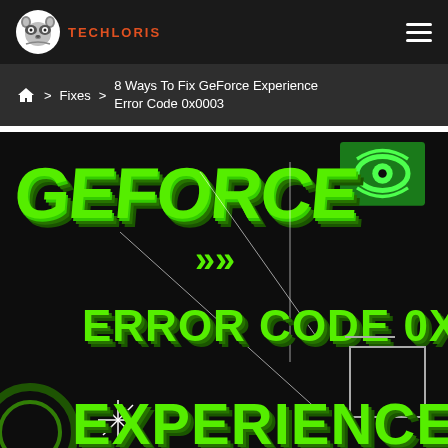TECHLORIS
Home > Fixes > 8 Ways To Fix GeForce Experience Error Code 0x0003
[Figure (screenshot): GeForce Experience Error Code 0x0003 promotional/hero image with green 3D text 'GEFORCE' at top, NVIDIA logo, 'ERROR CODE 0X0003' in green bold text in center, 'EXPERIENCE' at bottom, all on dark/black background with decorative line elements.]